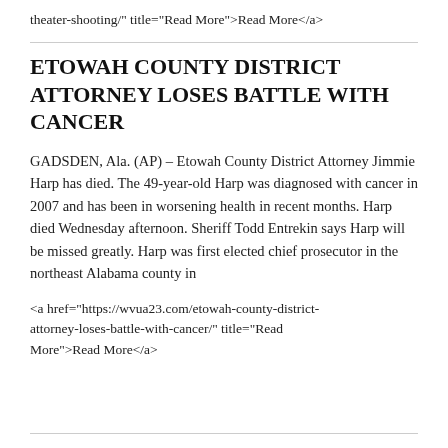theater-shooting/" title="Read More">Read More</a>
ETOWAH COUNTY DISTRICT ATTORNEY LOSES BATTLE WITH CANCER
GADSDEN, Ala. (AP) – Etowah County District Attorney Jimmie Harp has died. The 49-year-old Harp was diagnosed with cancer in 2007 and has been in worsening health in recent months. Harp died Wednesday afternoon. Sheriff Todd Entrekin says Harp will be missed greatly. Harp was first elected chief prosecutor in the northeast Alabama county in
<a href="https://wvua23.com/etowah-county-district-attorney-loses-battle-with-cancer/" title="Read More">Read More</a>